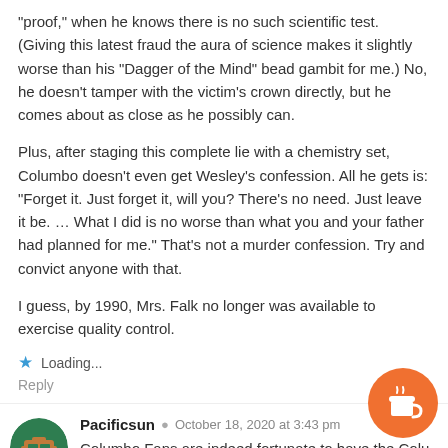“proof,” when he knows there is no such scientific test. (Giving this latest fraud the aura of science makes it slightly worse than his “Dagger of the Mind” bead gambit for me.) No, he doesn’t tamper with the victim’s crown directly, but he comes about as close as he possibly can.
Plus, after staging this complete lie with a chemistry set, Columbo doesn’t even get Wesley’s confession. All he gets is: “Forget it. Just forget it, will you? There’s no need. Just leave it be. … What I did is no worse than what you and your father had planned for me.” That’s not a murder confession. Try and convict anyone with that.
I guess, by 1990, Mrs. Falk no longer was available to exercise quality control.
Loading...
Reply
Pacificsun · October 18, 2020 at 3:43 pm
Columbo Fans are indeed fortunate to have the Columbo site so earnestly reviewing episodes. What a great way to exchange conversation and make (especially) the re-